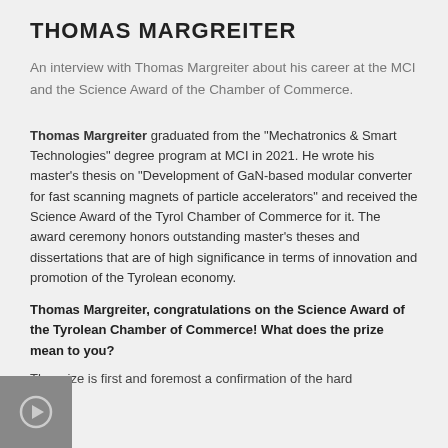THOMAS MARGREITER
An interview with Thomas Margreiter about his career at the MCI and the Science Award of the Chamber of Commerce.
Thomas Margreiter graduated from the "Mechatronics & Smart Technologies" degree program at MCI in 2021. He wrote his master's thesis on "Development of GaN-based modular converter for fast scanning magnets of particle accelerators" and received the Science Award of the Tyrol Chamber of Commerce for it. The award ceremony honors outstanding master's theses and dissertations that are of high significance in terms of innovation and promotion of the Tyrolean economy.
Thomas Margreiter, congratulations on the Science Award of the Tyrolean Chamber of Commerce! What does the prize mean to you?
The prize is first and foremost a confirmation of the hard